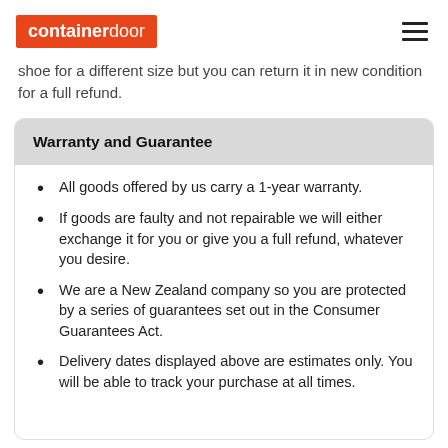containerdoor
shoe for a different size but you can return it in new condition for a full refund.
Warranty and Guarantee
All goods offered by us carry a 1-year warranty.
If goods are faulty and not repairable we will either exchange it for you or give you a full refund, whatever you desire.
We are a New Zealand company so you are protected by a series of guarantees set out in the Consumer Guarantees Act.
Delivery dates displayed above are estimates only. You will be able to track your purchase at all times.